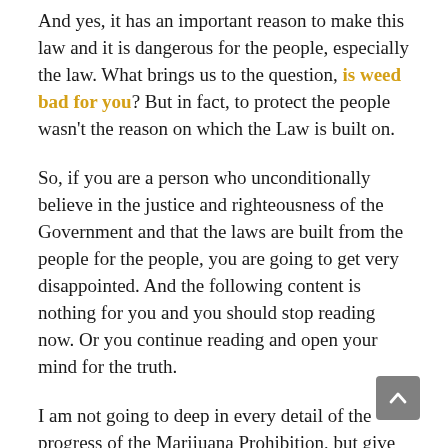And yes, it has an important reason to make this law and it is dangerous for the people, especially the law. What brings us to the question, is weed bad for you? But in fact, to protect the people wasn't the reason on which the Law is built on.
So, if you are a person who unconditionally believe in the justice and righteousness of the Government and that the laws are built from the people for the people, you are going to get very disappointed. And the following content is nothing for you and you should stop reading now. Or you continue reading and open your mind for the truth.
I am not going to deep in every detail of the progress of the Marijuana Prohibition, but give you an overview of the major points, why is marijuana illegal.